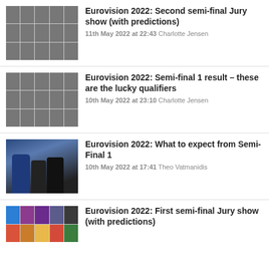[Figure (photo): Mosaic thumbnail of Eurovision 2022 performances]
Eurovision 2022: Second semi-final Jury show (with predictions)
11th May 2022 at 22:43 Charlotte Jensen
[Figure (photo): Mosaic thumbnail of Eurovision 2022 semi-final 1 performances]
Eurovision 2022: Semi-final 1 result – these are the lucky qualifiers
10th May 2022 at 23:10 Charlotte Jensen
[Figure (photo): Photo of three Eurovision 2022 presenters in formal attire]
Eurovision 2022: What to expect from Semi-Final 1
10th May 2022 at 17:41 Theo Vatmanidis
[Figure (photo): Mosaic thumbnail of Eurovision 2022 performances (partial)]
Eurovision 2022: First semi-final Jury show (with predictions)